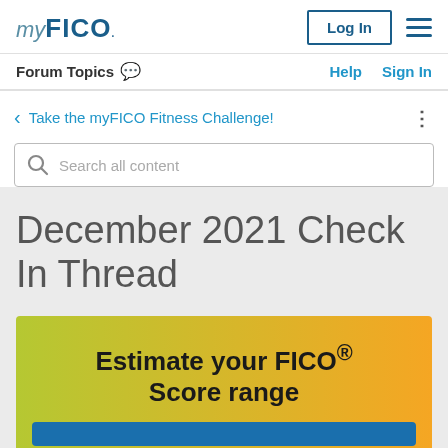myFICO
Forum Topics   Help   Sign In
Take the myFICO Fitness Challenge!
Search all content
December 2021 Check In Thread
Estimate your FICO® Score range